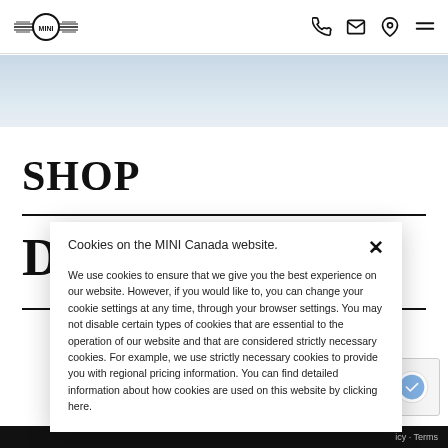MINI Canada website header with logo, phone, email, location, and menu icons
[Figure (illustration): Light blue-grey banner area below the navigation header]
SHOP
DI
Cookies on the MINI Canada website.

We use cookies to ensure that we give you the best experience on our website. However, if you would like to, you can change your cookie settings at any time, through your browser settings. You may not disable certain types of cookies that are essential to the operation of our website and that are considered strictly necessary cookies. For example, we use strictly necessary cookies to provide you with regional pricing information. You can find detailed information about how cookies are used on this website by clicking here.
icy · Terms